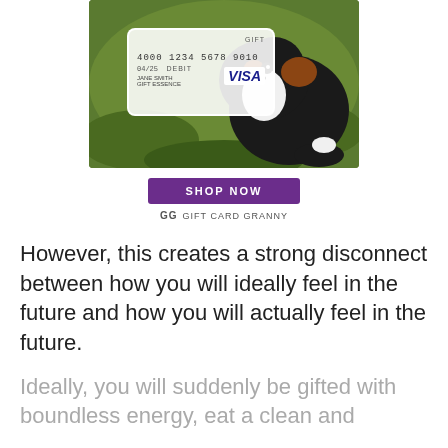[Figure (advertisement): Gift Card Granny advertisement showing a Bernese Mountain Dog puppy on grass with a Visa gift card overlay. Card shows number 4000 1234 5678 9010, DEBIT, JANE SMITH GIFT ESSENCE, and Visa logo. Purple 'SHOP NOW' button below the image. 'GG GIFT CARD GRANNY' branding underneath.]
However, this creates a strong disconnect between how you will ideally feel in the future and how you will actually feel in the future.
Ideally, you will suddenly be gifted with boundless energy, eat a clean and